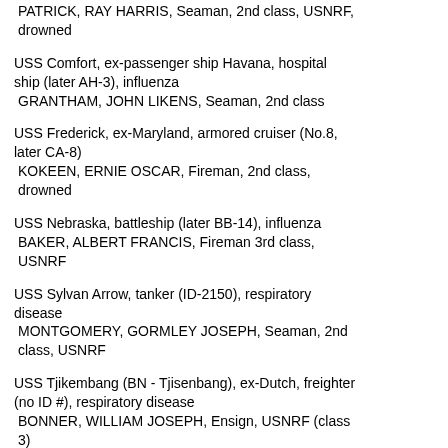PATRICK, RAY HARRIS, Seaman, 2nd class, USNRF, drowned
USS Comfort, ex-passenger ship Havana, hospital ship (later AH-3), influenza
GRANTHAM, JOHN LIKENS, Seaman, 2nd class
USS Frederick, ex-Maryland, armored cruiser (No.8, later CA-8)
KOKEEN, ERNIE OSCAR, Fireman, 2nd class, drowned
USS Nebraska, battleship (later BB-14), influenza
BAKER, ALBERT FRANCIS, Fireman 3rd class, USNRF
USS Sylvan Arrow, tanker (ID-2150), respiratory disease
MONTGOMERY, GORMLEY JOSEPH, Seaman, 2nd class, USNRF
USS Tjikembang (BN - Tjisenbang), ex-Dutch, freighter (no ID #), respiratory disease
BONNER, WILLIAM JOSEPH, Ensign, USNRF (class 3)
Willard Parker Hospital, New York, N Y, respiratory disease
DODDS, JOHN, Boiler Maker